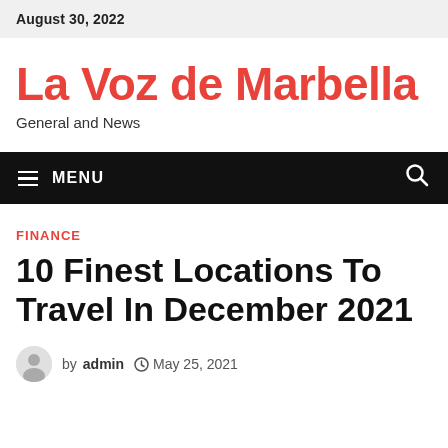August 30, 2022
La Voz de Marbella
General and News
≡ MENU
FINANCE
10 Finest Locations To Travel In December 2021
by admin  May 25, 2021